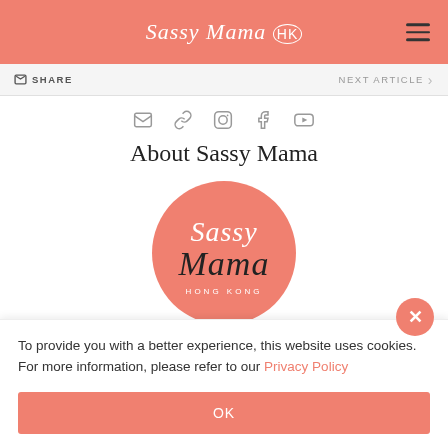Sassy Mama HK
SHARE   NEXT ARTICLE
[Figure (logo): Social media icon links: email, link, instagram, facebook, youtube]
About Sassy Mama
[Figure (logo): Sassy Mama Hong Kong circular logo in salmon/coral color with white script text]
To provide you with a better experience, this website uses cookies. For more information, please refer to our Privacy Policy
OK